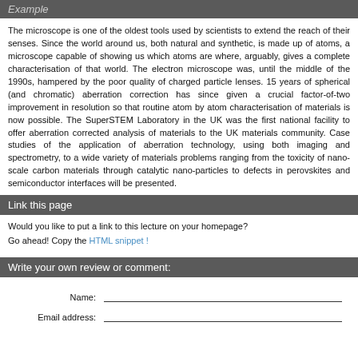Example
The microscope is one of the oldest tools used by scientists to extend the reach of their senses. Since the world around us, both natural and synthetic, is made up of atoms, a microscope capable of showing us which atoms are where, arguably, gives a complete characterisation of that world. The electron microscope was, until the middle of the 1990s, hampered by the poor quality of charged particle lenses. 15 years of spherical (and chromatic) aberration correction has since given a crucial factor-of-two improvement in resolution so that routine atom by atom characterisation of materials is now possible. The SuperSTEM Laboratory in the UK was the first national facility to offer aberration corrected analysis of materials to the UK materials community. Case studies of the application of aberration technology, using both imaging and spectrometry, to a wide variety of materials problems ranging from the toxicity of nano-scale carbon materials through catalytic nano-particles to defects in perovskites and semiconductor interfaces will be presented.
Link this page
Would you like to put a link to this lecture on your homepage?
Go ahead! Copy the HTML snippet !
Write your own review or comment:
Name:
Email address: